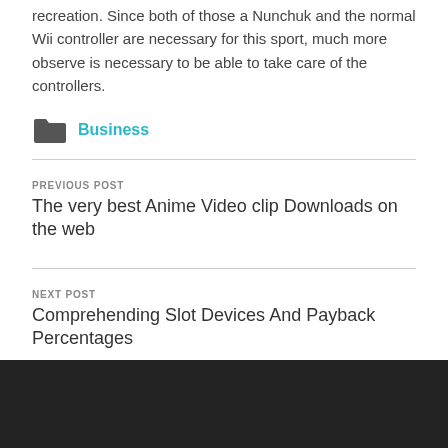recreation. Since both of those a Nunchuk and the normal Wii controller are necessary for this sport, much more observe is necessary to be able to take care of the controllers.
Business
PREVIOUS POST
The very best Anime Video clip Downloads on the web
NEXT POST
Comprehending Slot Devices And Payback Percentages